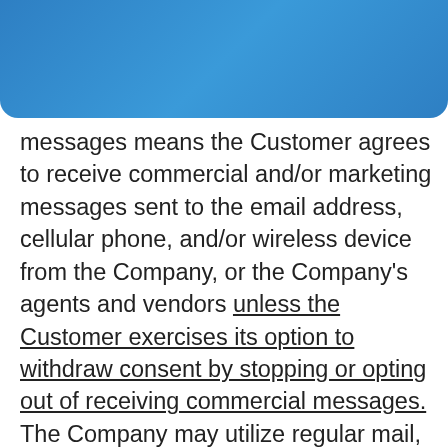ProTaxPro.com — Your Professional Tax Program Since 1995
messages means the Customer agrees to receive commercial and/or marketing messages sent to the email address, cellular phone, and/or wireless device from the Company, or the Company's agents and vendors unless the Customer exercises its option to withdraw consent by stopping or opting out of receiving commercial messages. The Company may utilize regular mail, email, facsimile, text, or other reasonable means of contact to advise about the Company's services, including account updates, customer service-related notifications, or other matters that are of interest to the